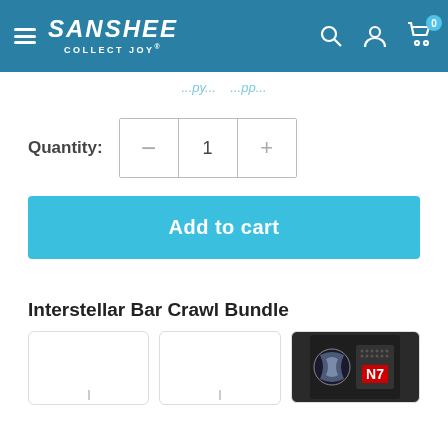SANSHEE COLLECT JOY
...py...pp...
Quantity: 1
Add to cart
Interstellar Bar Crawl Bundle
[Figure (photo): Three product cards showing items in the Interstellar Bar Crawl Bundle. The third card shows an N7 patch/badge product on a dark background.]